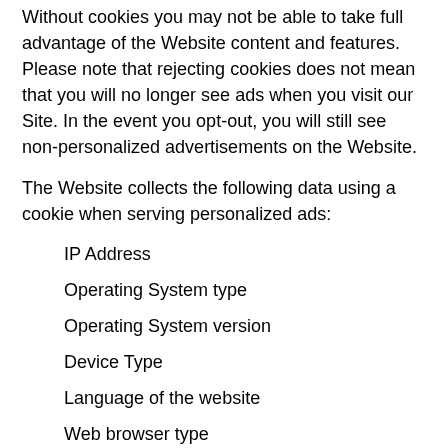Without cookies you may not be able to take full advantage of the Website content and features. Please note that rejecting cookies does not mean that you will no longer see ads when you visit our Site. In the event you opt-out, you will still see non-personalized advertisements on the Website.
The Website collects the following data using a cookie when serving personalized ads:
IP Address
Operating System type
Operating System version
Device Type
Language of the website
Web browser type
Email (in hashed form)
Mediavine Partners (companies listed below with whom Mediavine shares data) may also use this data to link to other end user information the partner has independently collected to deliver targeted advertisements. Mediavine Partners may also separately collect data about end users